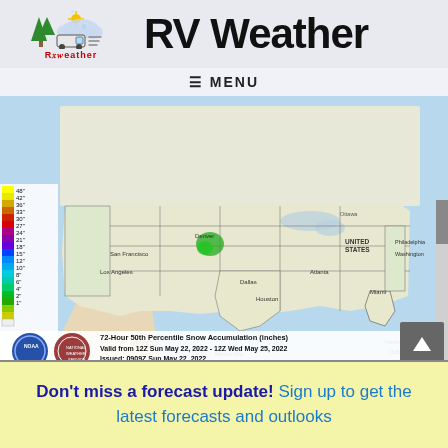RV Weather
[Figure (logo): RV Weather logo with trees, sun, cloud, RV and wind icons, with handwritten 'RVWeather' text in red below]
RV Weather
≡ MENU
[Figure (map): 72-Hour 50th Percentile Snow Accumulation (inches) map of the United States. Valid from 12Z Sun May 22, 2022 - 12Z Wed May 25, 2022. Issued: 0909Z Sun May 22, 2022. Shows minimal snow accumulation with a small green area near Denver/Colorado. Esri, HERE, Garmin, FAO, NOAA, USGS, EPA attribution.]
72-Hour 50th Percentile Snow Accumulation (inches)
Valid from 12Z Sun May 22, 2022 - 12Z Wed May 25, 2022
Issued: 0909Z Sun May 22, 2022
Don't miss a forecast update! Sign up to get the latest forecasts and outlooks